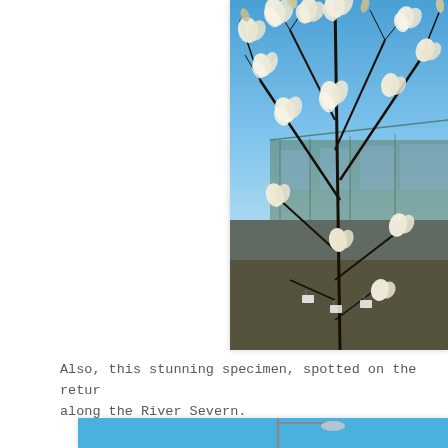[Figure (photo): A photo of a magnolia tree or shrub in bloom, with numerous white/cream flowers on bare dark branches against a clear blue sky. A greenhouse or garden structure is visible in the background.]
Also, this stunning specimen, spotted on the return along the River Severn.
[Figure (photo): Partial view of a second image with a blue background, showing what appears to be a street lamp or similar structure.]